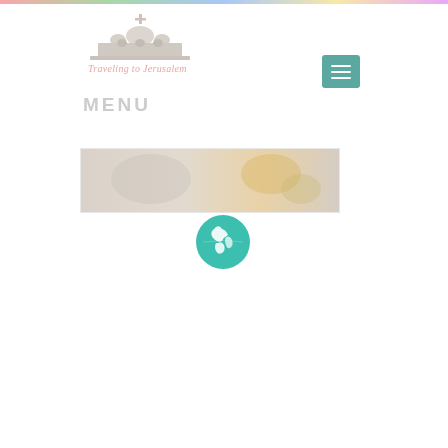[Figure (logo): Traveling to Jerusalem website logo with church/dome illustration and italic text 'Traveling to Jerusalem']
[Figure (other): Hamburger menu button with three horizontal white lines on teal/green square background]
MENU
[Figure (photo): Horizontal banner photo showing religious artifacts or market scene in muted tones]
[Figure (illustration): Green globe/earth icon showing Americas]
[Figure (other): Search button with teal background and text SEARCH]